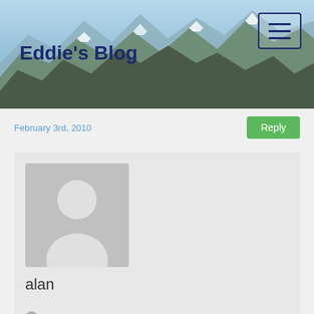[Figure (photo): Mountain landscape header banner with snow-capped peaks and blue sky, used as blog header background]
Eddie's Blog
February 3rd, 2010
alan
Camped on the summit last weekend and saw two wings approx
500m distant from each other .Was curious as to what it was so thanks for your info.
July 30th, 2010
[Figure (illustration): Generic user avatar placeholder (silhouette on gray background)]